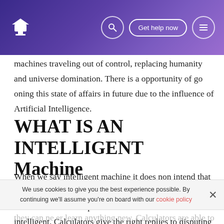Get help now
machines traveling out of control, replacing humanity and universe domination. There is a opportunity of go oning this state of affairs in future due to the influence of Artificial Intelligence.
WHAT IS AN INTELLIGENT Machine
When we say intelligent machine it does non intend that it is a machine which can work out any complex plan that even humans acquire troubled. Calculators are non intelligent. Calculators give the right replies to disputing math jobs, but
We use cookies to give you the best experience possible. By continuing we'll assume you're on board with our cookie policy
they can ne er learn anything new. Calculators are able to